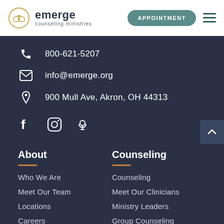[Figure (logo): Emerge Counseling Ministries logo with circular gold leaf emblem and text]
800-621-5207
info@emerge.org
900 Mull Ave, Akron, OH 44313
[Figure (illustration): Social media icons: Facebook, Instagram, Podcast]
About
Counseling
Who We Are
Meet Our Team
Locations
Careers
Counseling
Meet Our Clinicians
Ministry Leaders
Group Counseling